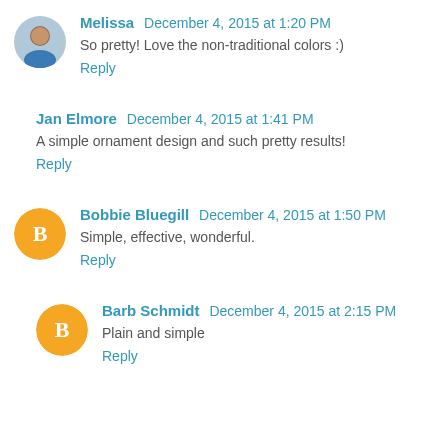Melissa December 4, 2015 at 1:20 PM
So pretty! Love the non-traditional colors :)
Reply
Jan Elmore December 4, 2015 at 1:41 PM
A simple ornament design and such pretty results!
Reply
Bobbie Bluegill December 4, 2015 at 1:50 PM
Simple, effective, wonderful.
Reply
Barb Schmidt December 4, 2015 at 2:15 PM
Plain and simple
Reply